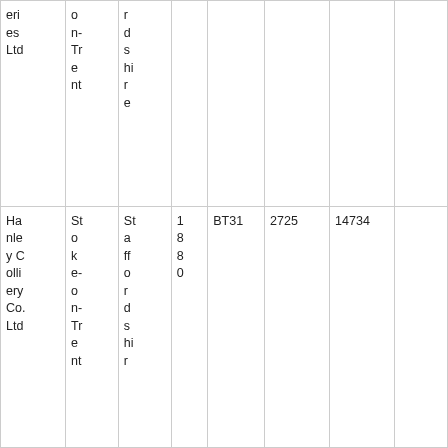| eries Ltd | on-Trent | rdshire |  |  |  |  |  |
| Hanley Colliery Co. Ltd | Stoke-on-Trent | Staffordshire | 1880 | BT31 | 2725 | 14734 |  |